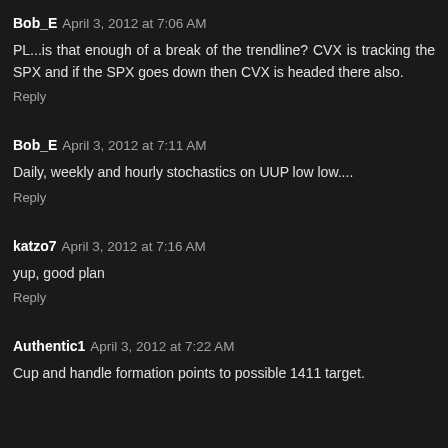Bob_E April 3, 2012 at 7:06 AM
PL...is that enough of a break of the trendline? CVX is tracking the SPX and if the SPX goes down then CVX is headed there also.
Reply
Bob_E April 3, 2012 at 7:11 AM
Daily, weekly and hourly stochastics on UUP low low....
Reply
katzo7 April 3, 2012 at 7:16 AM
yup, good plan
Reply
Authentic1 April 3, 2012 at 7:22 AM
Cup and handle formation points to possible 1411 target.